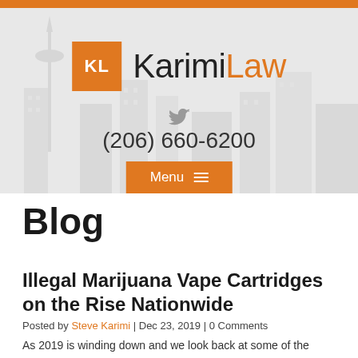[Figure (logo): KarimiLaw logo with orange KL box and wordmark]
(206) 660-6200
[Figure (other): Menu button with hamburger icon]
Blog
Illegal Marijuana Vape Cartridges on the Rise Nationwide
Posted by Steve Karimi | Dec 23, 2019 | 0 Comments
As 2019 is winding down and we look back at some of the illegal marijuana vape cartridges...